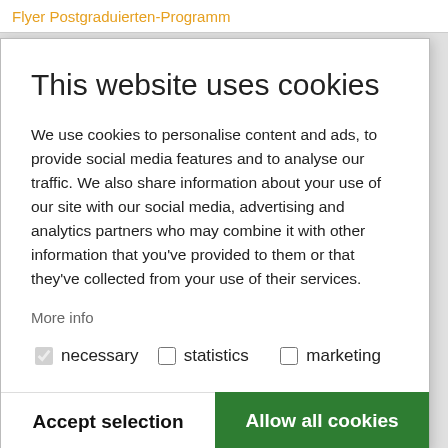Flyer Postgraduierten-Programm
This website uses cookies
We use cookies to personalise content and ads, to provide social media features and to analyse our traffic. We also share information about your use of our site with our social media, advertising and analytics partners who may combine it with other information that you've provided to them or that they've collected from your use of their services.
More info
necessary   statistics   marketing
Accept selection   Allow all cookies